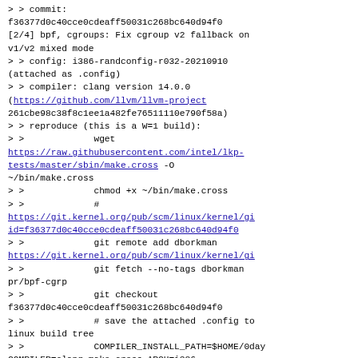> > commit:
f36377d0c40cce0cdeaff50031c268bc640d94f0
[2/4] bpf, cgroups: Fix cgroup v2 fallback on
v1/v2 mixed mode
> > config: i386-randconfig-r032-20210910
(attached as .config)
> > compiler: clang version 14.0.0
(https://github.com/llvm/llvm-project
261cbe98c38f8c1ee1a482fe76511110e790f58a)
> > reproduce (this is a W=1 build):
> >             wget
https://raw.githubusercontent.com/intel/lkp-tests/master/sbin/make.cross -O
~/bin/make.cross
> >             chmod +x ~/bin/make.cross
> >             #
https://git.kernel.org/pub/scm/linux/kernel/gi
id=f36377d0c40cce0cdeaff50031c268bc640d94f0
> >             git remote add dborkman
https://git.kernel.org/pub/scm/linux/kernel/gi
> >             git fetch --no-tags dborkman
pr/bpf-cgrp
> >             git checkout
f36377d0c40cce0cdeaff50031c268bc640d94f0
> >             # save the attached .config to
linux build tree
> >             COMPILER_INSTALL_PATH=$HOME/0day
COMPILER=clang make.cross ARCH=i386
> >
> > If you fix the issue, kindly add